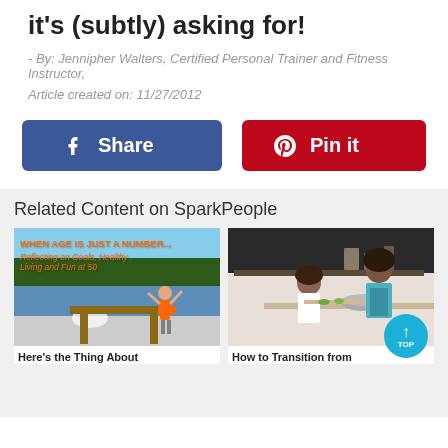it's (subtly) asking for!
- By: Jennipher Walters, Certified Personal Trainer and Fitness Instructor,
Article created on:  11/27/2012
[Figure (screenshot): Facebook Share button (blue, rounded rectangle) and Pinterest Pin it button (red, rounded rectangle)]
Related Content on SparkPeople
[Figure (photo): Woman on dock with arms raised, text overlay: WHEN AGE IS JUST A NUMBER... Reflecting on Goals, Healthy Living and Fun at 50]
[Figure (photo): Woman and child cooking in kitchen]
Here's the Thing About
How to Transition from